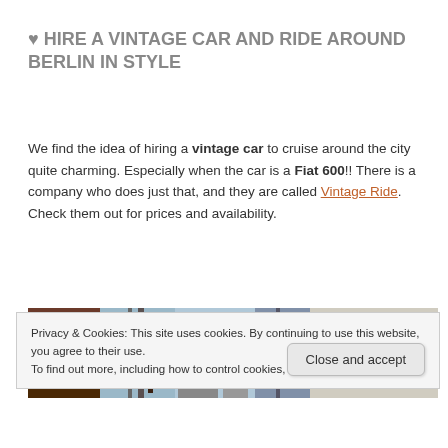♥ HIRE A VINTAGE CAR AND RIDE AROUND BERLIN IN STYLE
We find the idea of hiring a vintage car to cruise around the city quite charming. Especially when the car is a Fiat 600!! There is a company who does just that, and they are called Vintage Ride. Check them out for prices and availability.
[Figure (photo): A collage of street photos from Berlin showing trees, buildings, a green OLIVI pizza sign, and urban scenes]
Privacy & Cookies: This site uses cookies. By continuing to use this website, you agree to their use.
To find out more, including how to control cookies, see here: Cookie Policy